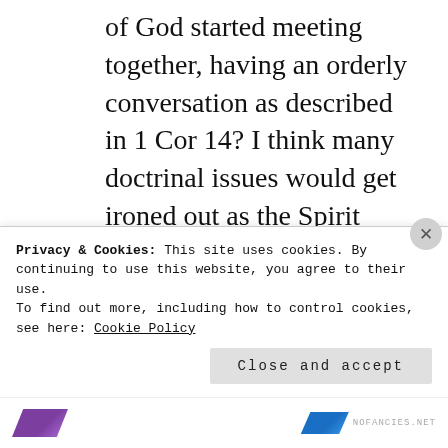of God started meeting together, having an orderly conversation as described in 1 Cor 14? I think many doctrinal issues would get ironed out as the Spirit moves and unity builds. Many divisions start right at the “top” of assemblies because Christ is not the head- it’s a man or group of
Privacy & Cookies: This site uses cookies. By continuing to use this website, you agree to their use.
To find out more, including how to control cookies, see here: Cookie Policy
Close and accept